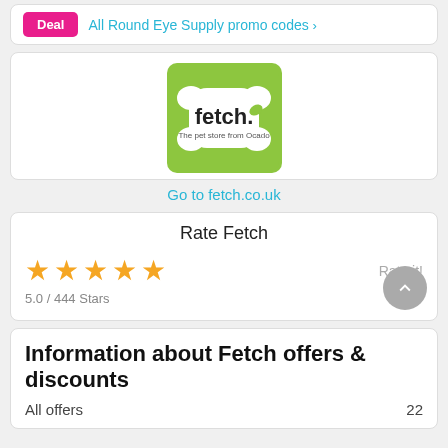Deal   All Round Eye Supply promo codes >
[Figure (logo): Fetch pet store logo — white bone-shaped emblem with 'fetch' text on a lime green background]
Go to fetch.co.uk
Rate Fetch
[Figure (infographic): 5 gold stars rating display with 'Rate it!' label and '5.0 / 444 Stars' below]
5.0 / 444 Stars
Information about Fetch offers & discounts
All offers   22